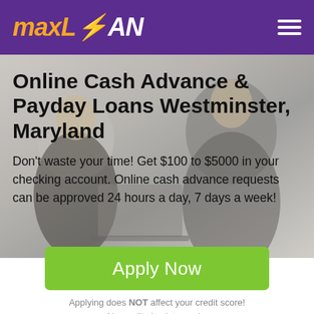[Figure (logo): MaxLoan logo with orange italic 'max' and lightning bolt in 'LOAN', white letters on purple header background]
[Figure (photo): Hero background image showing two people from behind, muted grey/beige tones, holding something (laptop or device)]
Online Cash Advance & Payday Loans Westminster, Maryland
Don't waste your time! Get $100 to $5000 in your checking account. Online cash advance requests can be approved 24 hours a day, 7 days a week!
Apply Now
Applying does NOT affect your credit score!
No credit check to apply.